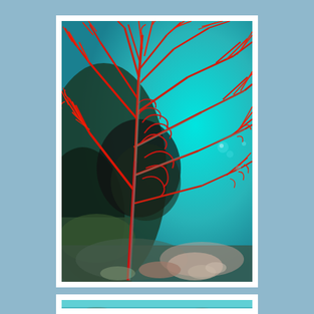[Figure (photo): Close-up underwater photograph of a red gorgonian sea fan coral with intricate branching structure against a teal/cyan ocean background with other coral reef elements visible.]
[Figure (photo): Partial underwater photograph showing a coral reef scene, cropped at the bottom of the page.]